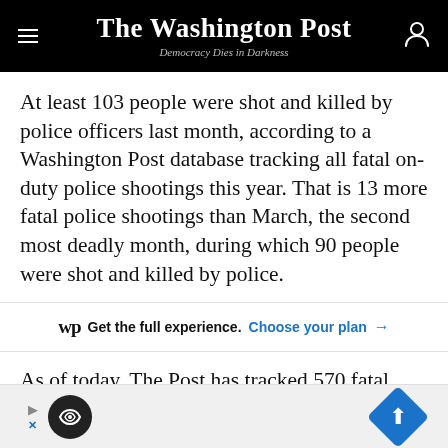The Washington Post — Democracy Dies in Darkness
At least 103 people were shot and killed by police officers last month, according to a Washington Post database tracking all fatal on-duty police shootings this year. That is 13 more fatal police shootings than March, the second most deadly month, during which 90 people were shot and killed by police.
Get the full experience. Choose your plan →
As of today, The Post has tracked 570 fatal police shootings. (Read more about the methodology here.)